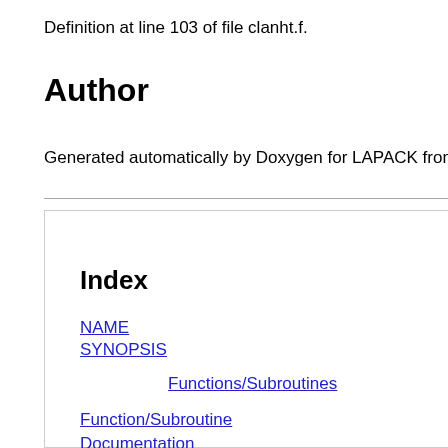Definition at line 103 of file clanht.f.
Author
Generated automatically by Doxygen for LAPACK from
Index
NAME
SYNOPSIS
Functions/Subroutines
Function/Subroutine Documentation